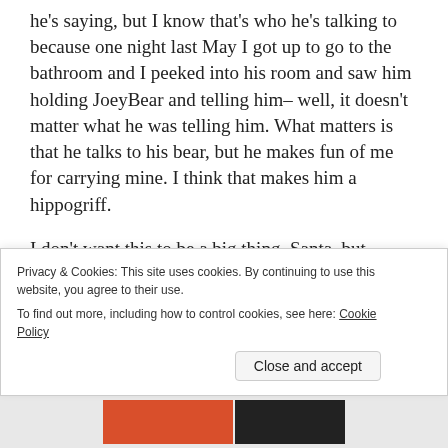he's saying, but I know that's who he's talking to because one night last May I got up to go to the bathroom and I peeked into his room and saw him holding JoeyBear and telling him– well, it doesn't matter what he was telling him. What matters is that he talks to his bear, but he makes fun of me for carrying mine. I think that makes him a hippogriff.
I don't want this to be a big thing, Santa, but Corey's been such a jerk this year and I don't know why. Bring him a dead fish.
Privacy & Cookies: This site uses cookies. By continuing to use this website, you agree to their use.
To find out more, including how to control cookies, see here: Cookie Policy
Close and accept